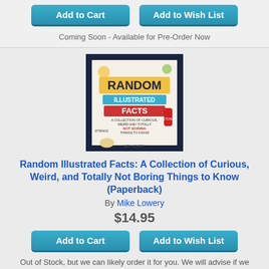[Figure (other): Add to Cart and Add to Wish List buttons at top]
Coming Soon - Available for Pre-Order Now
[Figure (illustration): Book cover: Random Illustrated Facts: A Collection of Curious, Weird, and Totally Not Boring Things to Know by Mike Lowery]
Random Illustrated Facts: A Collection of Curious, Weird, and Totally Not Boring Things to Know (Paperback)
By Mike Lowery
$14.95
[Figure (other): Add to Cart and Add to Wish List buttons]
Out of Stock, but we can likely order it for you. We will advise if we cannot.
[Figure (illustration): Partial book cover at bottom: True Facts]